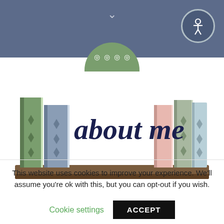[Figure (screenshot): Website header bar with steel blue/slate background, a downward chevron arrow in the center top, and a circular accessibility icon (person with arms out) in the top right. Below is a green circular profile image partially visible showing some social media icons.]
[Figure (illustration): Illustration of a bookshelf with books on either side and the text 'about me' written in dark navy cursive/script font in the center. Books are in muted greens, blues, and pinks on a brown wooden shelf.]
This website uses cookies to improve your experience. We'll assume you're ok with this, but you can opt-out if you wish.
Cookie settings   ACCEPT